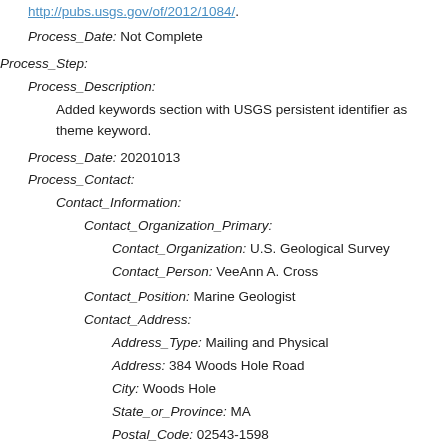http://pubs.usgs.gov/of/2012/1084/.
Process_Date: Not Complete
Process_Step:
Process_Description:
Added keywords section with USGS persistent identifier as theme keyword.
Process_Date: 20201013
Process_Contact:
Contact_Information:
Contact_Organization_Primary:
Contact_Organization: U.S. Geological Survey
Contact_Person: VeeAnn A. Cross
Contact_Position: Marine Geologist
Contact_Address:
Address_Type: Mailing and Physical
Address: 384 Woods Hole Road
City: Woods Hole
State_or_Province: MA
Postal_Code: 02543-1598
Contact_Voice_Telephone: 508-548-8700